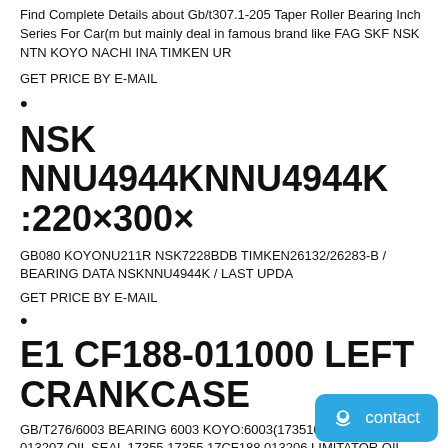Find Complete Details about Gb/t307.1-205 Taper Roller Bearing Inch Series For Car(m but mainly deal in famous brand like FAG SKF NSK NTN KOYO NACHI INA TIMKEN UR
GET PRICE BY E-MAIL
•
NSK NNU4944KNNU4944K
:220×300×
GB080 KOYONU211R NSK7228BDB TIMKEN26132/26283-B / BEARING DATA NSKNNU4944K / LAST UPDA
GET PRICE BY E-MAIL
•
E1 CF188-011000 LEFT CRANKCASE
GB/T276/6003 BEARING 6003 KOYO:6003(173510 013207 OIL SEAL 17355 17355 17CF188 013206 LIMITATOR OIL